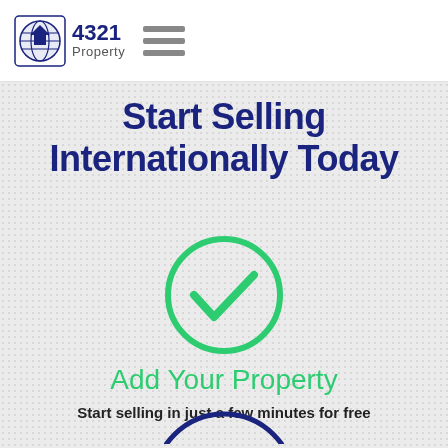[Figure (logo): 4321 Property logo with house icon and globe, followed by hamburger menu icon]
Start Selling Internationally Today
[Figure (illustration): Green circle with a green checkmark inside]
Add Your Property
Start selling in just a few minutes for free
[Figure (illustration): Partial blue circle arc at bottom of page]